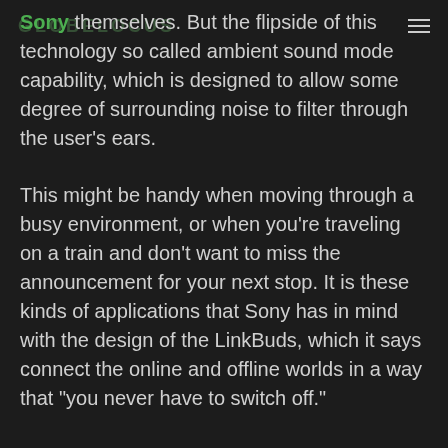GLOBELOCUS [menu icon]
Sony themselves. But the flipside of this technology so called ambient sound mode capability, which is designed to allow some degree of surrounding noise to filter through the user's ears.
This might be handy when moving through a busy environment, or when you're traveling on a train and don't want to miss the announcement for your next stop. It is these kinds of applications that Sony has in mind with the design of the LinkBuds, which it says connect the online and offline worlds in a way that "you never have to switch off."